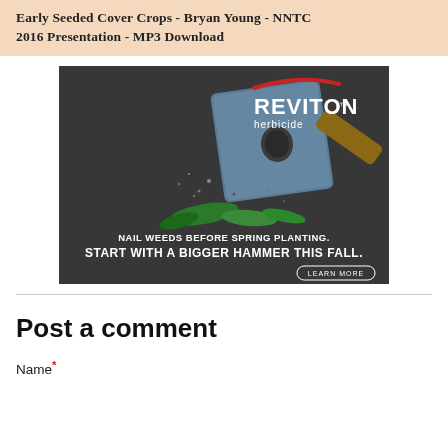Early Seeded Cover Crops - Bryan Young - NNTC 2016 Presentation - MP3 Download
[Figure (advertisement): REVITON herbicide advertisement. Dark background with a large metal hammer striking green weeds against a concrete surface. Text: 'NAIL WEEDS BEFORE SPRING PLANTING. START WITH A BIGGER HAMMER THIS FALL.' with a 'LEARN MORE' button. Red arc logo above REVITON brand name.]
Post a comment
Name *